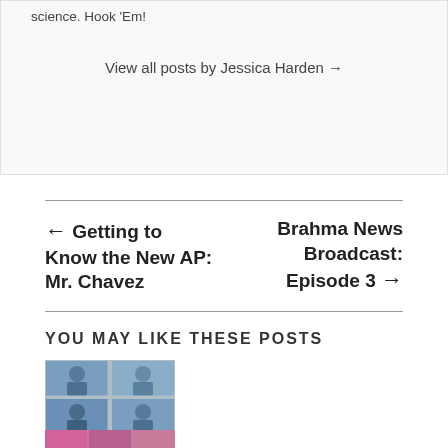science. Hook 'Em!
View all posts by Jessica Harden →
← Getting to Know the New AP: Mr. Chavez
Brahma News Broadcast: Episode 3 →
YOU MAY LIKE THESE POSTS
[Figure (photo): Grid of six graduation photos showing students in blue caps and gowns]
Senior Photos Info
[Figure (photo): Partial photo of people, appears to be a colorful event photo]